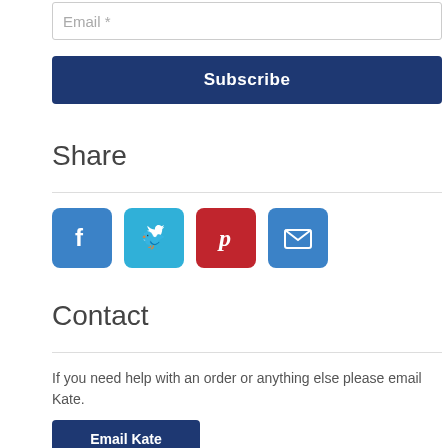Email *
Subscribe
Share
[Figure (infographic): Social share icons: Facebook (blue), Twitter (light blue), Pinterest (red), Email (blue)]
Contact
If you need help with an order or anything else please email Kate.
Email Kate